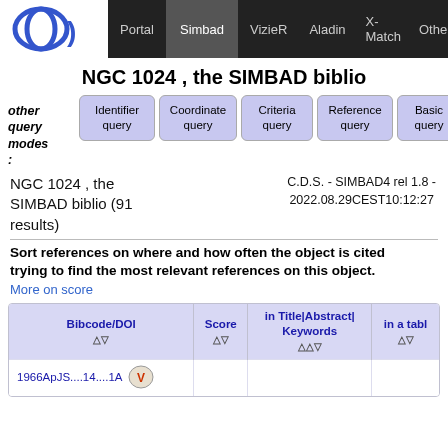Portal | Simbad | VizieR | Aladin | X-Match | Othe
NGC 1024 , the SIMBAD biblio
other query modes:
Identifier query | Coordinate query | Criteria query | Reference query | Basic query
NGC 1024 , the SIMBAD biblio (91 results)
C.D.S. - SIMBAD4 rel 1.8 - 2022.08.29CEST10:12:27
Sort references on where and how often the object is cited trying to find the most relevant references on this object.
More on score
| Bibcode/DOI | Score | in Title|Abstract|Keywords | in a tabl |
| --- | --- | --- | --- |
| 1966ApJS....14....1A [vizier] |  |  |  |